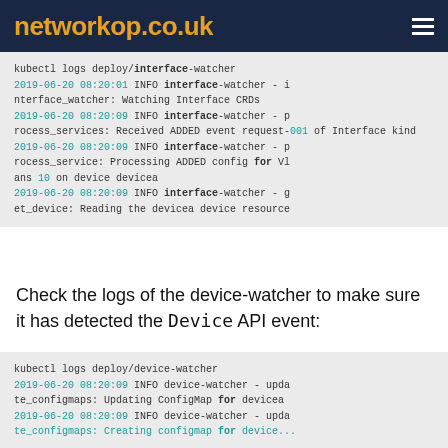networkop.co.uk
[Figure (screenshot): Code block showing kubectl logs for interface-watcher with timestamps and log messages]
Check the logs of the device-watcher to make sure it has detected the Device API event:
[Figure (screenshot): Code block showing kubectl logs for device-watcher with timestamps and log messages]